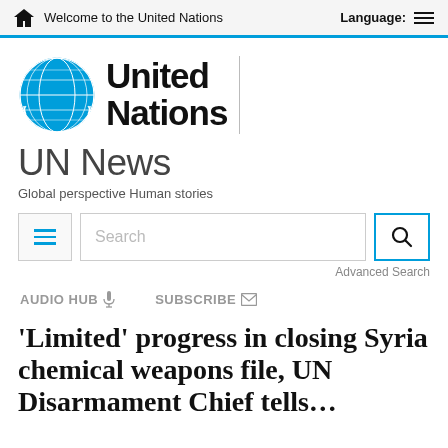Welcome to the United Nations   Language:
[Figure (logo): United Nations emblem logo in blue with globe and laurel wreath, followed by bold text 'United Nations' with vertical divider]
UN News
Global perspective Human stories
[Figure (screenshot): Search interface with hamburger menu button, search text field with placeholder 'Search', and search icon button]
Advanced Search
AUDIO HUB 🎤   SUBSCRIBE ✉
'Limited' progress in closing Syria chemical weapons file, UN Disarmament Chief tells…